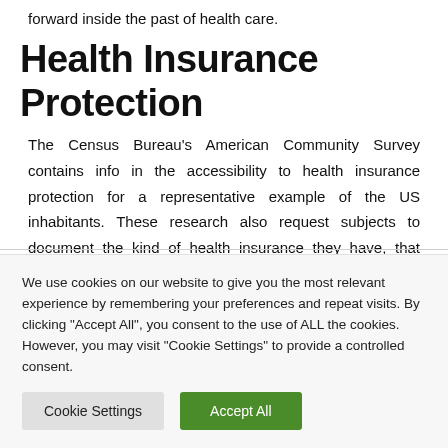forward inside the past of health care.
Health Insurance Protection
The Census Bureau's American Community Survey contains info in the accessibility to health insurance protection for a representative example of the US inhabitants. These research also request subjects to document the kind of health insurance they have, that enables for state-stage estimations. Some respondents
We use cookies on our website to give you the most relevant experience by remembering your preferences and repeat visits. By clicking "Accept All", you consent to the use of ALL the cookies. However, you may visit "Cookie Settings" to provide a controlled consent.